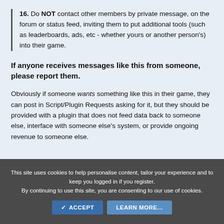16. Do NOT contact other members by private message, on the forum or status feed, inviting them to put additional tools (such as leaderboards, ads, etc - whether yours or another person's) into their game.
If anyone receives messages like this from someone, please report them.
Obviously if someone wants something like this in their game, they can post in Script/Plugin Requests asking for it, but they should be provided with a plugin that does not feed data back to someone else, interface with someone else's system, or provide ongoing revenue to someone else.
This site uses cookies to help personalise content, tailor your experience and to keep you logged in if you register. By continuing to use this site, you are consenting to our use of cookies.